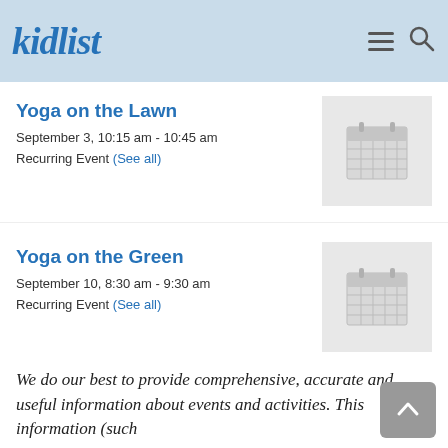kidlist
Yoga on the Lawn
September 3, 10:15 am - 10:45 am
Recurring Event (See all)
[Figure (illustration): Calendar placeholder icon on light grey background]
Yoga on the Green
September 10, 8:30 am - 9:30 am
Recurring Event (See all)
[Figure (illustration): Calendar placeholder icon on light grey background]
We do our best to provide comprehensive, accurate and useful information about events and activities. This information (such